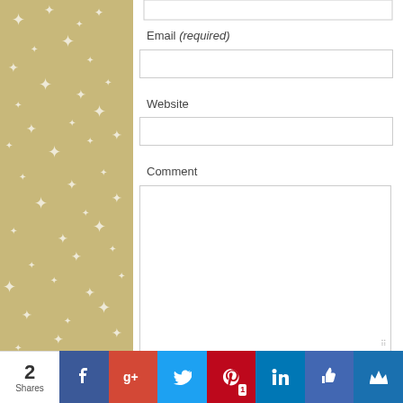[Figure (screenshot): Gold star pattern background on left and right sides of page]
Email (required)
[Figure (screenshot): Email input text box]
Website
[Figure (screenshot): Website input text box]
Comment
[Figure (screenshot): Comment textarea input box]
[Figure (screenshot): Social sharing bar at bottom with 2 Shares, Facebook, Google+, Twitter, Pinterest (1), LinkedIn, Like, and crown icon buttons]